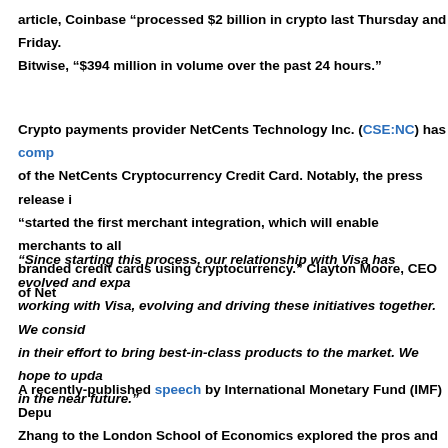article, Coinbase “processed $2 billion in crypto last Thursday and Friday. Bitwise, “$394 million in volume over the past 24 hours.”
Crypto payments provider NetCents Technology Inc. (CSE:NC) has comp of the NetCents Cryptocurrency Credit Card. Notably, the press release i“started the first merchant integration, which will enable merchants to all branded credit cards using cryptocurrency.” Clayton Moore, CEO of Net
“Since starting this process, our relationship with Visa has evolved and expa working with Visa, evolving and driving these initiatives together. We consid in their effort to bring best-in-class products to the market. We hope to upda in the near future.”
A recently-published speech by International Monetary Fund (IMF) Depu Zhang to the London School of Economics explored the pros and cons of c (CBDCs). Among the pros highlighted by Zhang were an increased efficie costs, greater financial inclusion afforded by the lack of requirement of a b